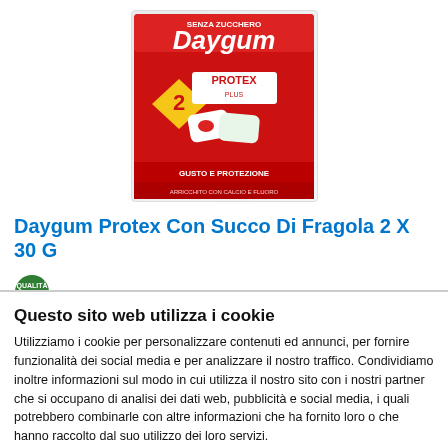[Figure (photo): Daygum Protex Con Succo Di Fragola 2 X 30 G product package image — red box with Daygum Protex branding, showing 2 packs, with text 'Gusto e Protezione']
Daygum Protex Con Succo Di Fragola 2 X 30 G
[Figure (logo): Small round green certification/quality icon]
Questo sito web utilizza i cookie
Utilizziamo i cookie per personalizzare contenuti ed annunci, per fornire funzionalità dei social media e per analizzare il nostro traffico. Condividiamo inoltre informazioni sul modo in cui utilizza il nostro sito con i nostri partner che si occupano di analisi dei dati web, pubblicità e social media, i quali potrebbero combinarle con altre informazioni che ha fornito loro o che hanno raccolto dal suo utilizzo dei loro servizi.
Usa solo i cookie necessari
Accetta tutti i cookie
Mostra dettagli